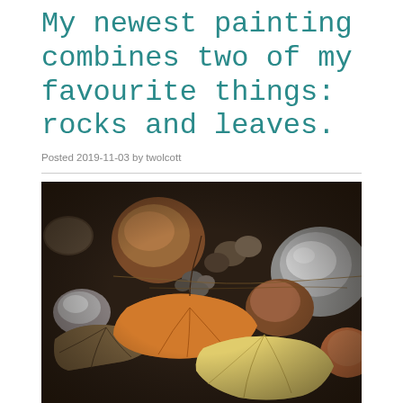My newest painting combines two of my favourite things: rocks and leaves.
Posted 2019-11-03 by twolcott
[Figure (photo): A realistic oil painting of smooth river rocks in various shades of brown, gray, and tan, with autumn leaves (gold, orange, and dried brown) resting on top of the rocks against a dark background.]